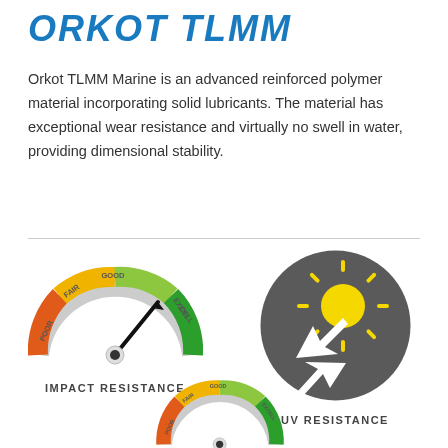ORKOT TLMM
Orkot TLMM Marine is an advanced reinforced polymer material incorporating solid lubricants. The material has exceptional wear resistance and virtually no swell in water, providing dimensional stability.
[Figure (infographic): Gauge/dial showing POOR, FAIR, GOOD, EXCELLENT rating scale with needle pointing to GOOD-EXCELLENT range, labeled IMPACT RESISTANCE]
IMPACT RESISTANCE
[Figure (infographic): Grey circle with sun icon and two arrows (one up, one down) representing UV resistance]
UV RESISTANCE
[Figure (infographic): Partial gauge/dial showing POOR, FAIR, GOOD, EXCELLENT rating scale, partially cropped at bottom of page]